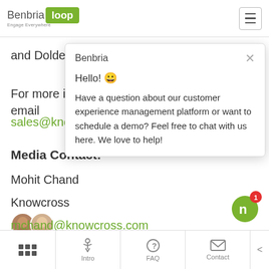Benbria Loop — Engage Everywhere
and Dolder Grand Zurich.
For more information, call +1 866 601 5669, email
sales@knowcross.
Media Contact:
Mohit Chand
Knowcross
mchand@knowcross.com
[Figure (screenshot): Chat popup from Benbria with greeting 'Hello! 😀' and message about customer experience management platform demo offer.]
Grid | Intro | FAQ | Contact | <